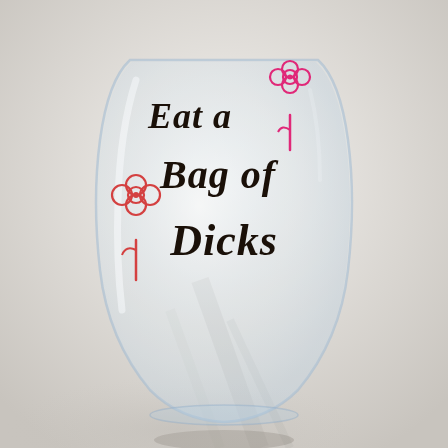[Figure (photo): A clear stemless wine glass sitting on a white cloth/fabric surface. The glass has a rounded bottom and tapers slightly toward the top. On the glass are printed decorative flower illustrations in coral/pink/red outline style — one flower on the left side and one on the upper right — along with bold black cursive/script text reading 'Eat a Bag of Dicks'. The background is a white fabric with soft folds and shadows.]